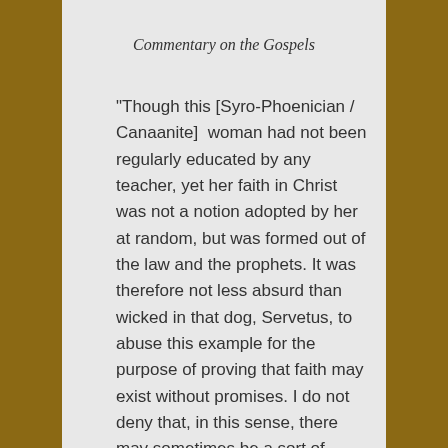Commentary on the Gospels
“Though this [Syro-Phoenician / Canaanite]  woman had not been regularly educated by any teacher, yet her faith in Christ was not a notion adopted by her at random, but was formed out of the law and the prophets. It was therefore not less absurd than wicked in that dog, Servetus, to abuse this example for the purpose of proving that faith may exist without promises. I do not deny that, in this sense, there may sometimes be a sort of implicit faith, that is, a faith which is not accompanied by a full and distinct knowledge